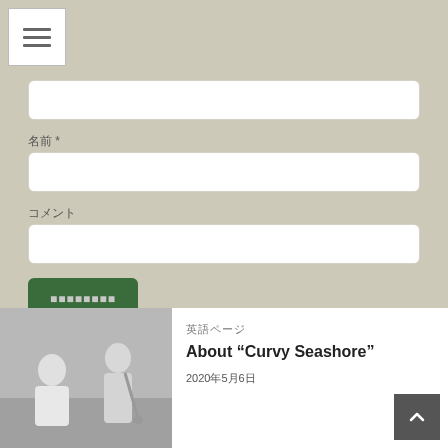[Figure (screenshot): Hamburger menu button with three horizontal lines]
[Figure (screenshot): Empty text input field (first)]
名前 *
[Figure (screenshot): Empty text input field (second) for 名前]
コメント
[Figure (screenshot): Empty text input field (third) for コメント]
[Figure (screenshot): Green submit button with Japanese label]
[Figure (photo): Black and white photo of two musicians, one playing saxophone, one at piano. Overlay text: CreativePot Tokyo (English page)]
英語ページ
About “Curvy Seashore”
2020年5月6日